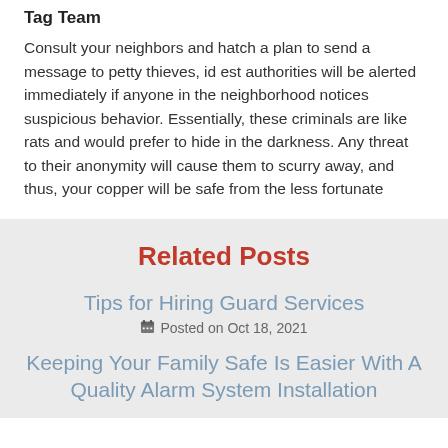Tag Team
Consult your neighbors and hatch a plan to send a message to petty thieves, id est authorities will be alerted immediately if anyone in the neighborhood notices suspicious behavior. Essentially, these criminals are like rats and would prefer to hide in the darkness. Any threat to their anonymity will cause them to scurry away, and thus, your copper will be safe from the less fortunate
Related Posts
Tips for Hiring Guard Services
Posted on Oct 18, 2021
Keeping Your Family Safe Is Easier With A Quality Alarm System Installation